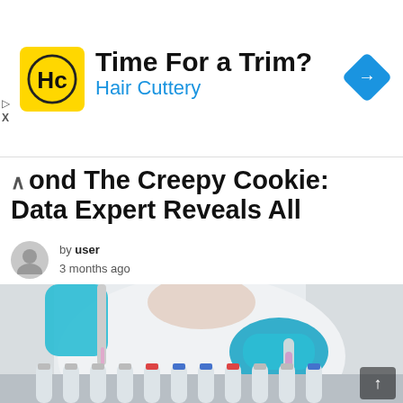[Figure (advertisement): Hair Cuttery ad banner with yellow logo showing HC letters, headline 'Time For a Trim?' and blue subtext 'Hair Cuttery', plus a blue diamond navigation icon on the right]
ond The Creepy Cookie: Data Expert Reveals All
by user
3 months ago
[Figure (photo): A person in white lab coat and blue gloves using a pipette to transfer liquid into test tubes in a laboratory setting]